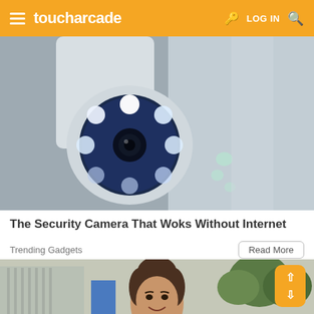toucharcade  LOG IN
[Figure (photo): Close-up photo of a white smart security camera with blue LED ring lights lit up, mounted on a wall]
The Security Camera That Woks Without Internet
Trending Gadgets
[Figure (photo): Photo of a young woman with dark hair in an updo, smiling outdoors near trees and a building]